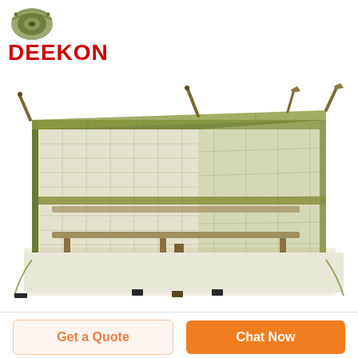[Figure (logo): Deekon brand logo with camouflage shield icon above red bold text DEEKON]
[Figure (photo): Olive green military mosquito net / bed net canopy suspended over a cot with mesh sides and a white bottom sheet, with corner poles visible]
[Figure (other): Two call-to-action buttons: 'Get a Quote' with light peach background and orange text, and 'Chat Now' with orange background and white text]